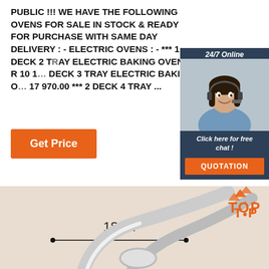PUBLIC !!! WE HAVE THE FOLLOWING OVENS FOR SALE IN STOCK & READY FOR PURCHASE WITH SAME DAY DELIVERY : - ELECTRIC OVENS : - *** 1 DECK 2 TRAY ELECTRIC BAKING OVEN @ R 10 1... DECK 3 TRAY ELECTRIC BAKING O... 17 970.00 *** 2 DECK 4 TRAY ...
[Figure (other): 24/7 Online chat widget with a female customer service representative wearing a headset, with text 'Click here for free chat!' and an orange QUOTATION button]
Get Price
[Figure (other): Product image showing a metallic baking rack or oven tray with a measurement line indicating 18cm width, on a beige background. Orange TOP logo in the top right corner.]